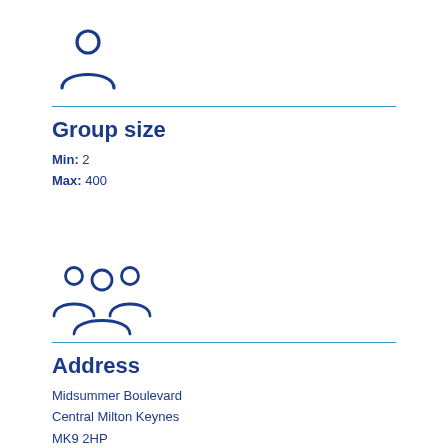[Figure (illustration): Single person/user icon in dark navy blue, circle head with arc shoulders]
Group size
Min: 2
Max: 400
[Figure (illustration): Group of people icon — three figures with circle heads and arc bodies in dark navy blue]
Address
Midsummer Boulevard
Central Milton Keynes
MK9 2HP